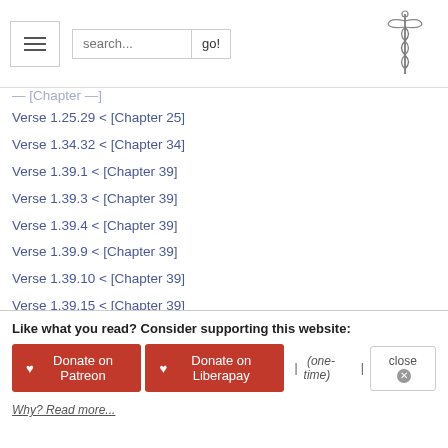search... go! [logo]
Verse 1.25.29 < [Chapter 25]
Verse 1.34.32 < [Chapter 34]
Verse 1.39.1 < [Chapter 39]
Verse 1.39.3 < [Chapter 39]
Verse 1.39.4 < [Chapter 39]
Verse 1.39.9 < [Chapter 39]
Verse 1.39.10 < [Chapter 39]
Verse 1.39.15 < [Chapter 39]
Verse 1.39.28 < [Chapter 39]
Verse 1.39.46 < [Chapter 39]
Verse 1.39.47 < [Chapter 39]
Verse 1.39.48 < [Chapter 39]
Verse 1.39.49 < [Chapter 39]
Verse 1.39.51 < [Chapter 39]
+ 194 more chapters /
Like what you read? Consider supporting this website:
♥ Donate on Patreon  ♥ Donate on Liberapay  | (one-time) |  close ⊗
Why? Read more...